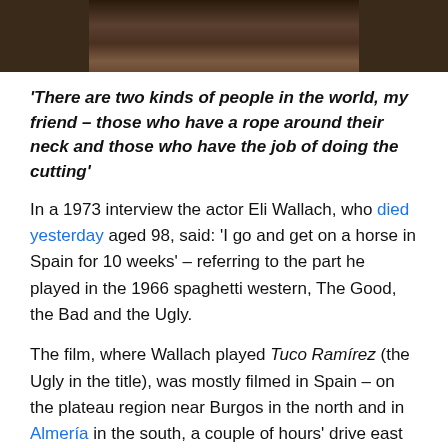[Figure (photo): Partial photo of a person's face/upper body, dark/shadowed tones]
'There are two kinds of people in the world, my friend – those who have a rope around their neck and those who have the job of doing the cutting'
In a 1973 interview the actor Eli Wallach, who died yesterday aged 98, said: 'I go and get on a horse in Spain for 10 weeks' – referring to the part he played in the 1966 spaghetti western, The Good, the Bad and the Ugly.
The film, where Wallach played Tuco Ramírez (the Ugly in the title), was mostly filmed in Spain – on the plateau region near Burgos in the north and in Almería in the south, a couple of hours' drive east from Órgiva.
The other Sergio Leone-directed films in the trilogy – A